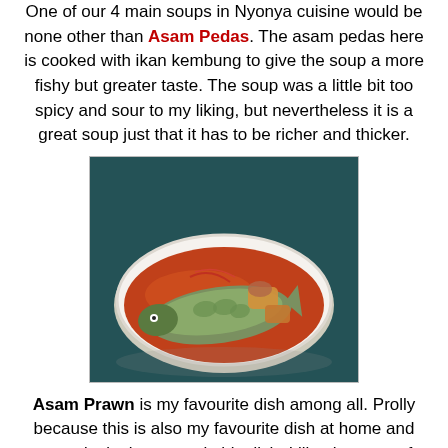One of our 4 main soups in Nyonya cuisine would be none other than Asam Pedas. The asam pedas here is cooked with ikan kembung to give the soup a more fishy but greater taste. The soup was a little bit too spicy and sour to my liking, but nevertheless it is a great soup just that it has to be richer and thicker.
[Figure (photo): A white oval plate filled with Asam Pedas fish (ikan kembung) in a reddish-orange tamarind sauce with vegetables, served on a dark patterned tablecloth.]
Asam Prawn is my favourite dish among all. Prolly because this is also my favourite dish at home and mom don't always cook this dish. I like the taste of thick asam gravy coated around the prawn and shell. I wouldn't waste any drop of the sauce and will swallow it all even though it could be really salty and sweet. That's how you should enjoy